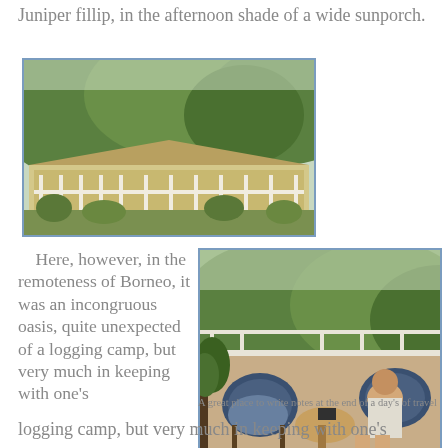Juniper fillip, in the afternoon shade of a wide sunporch.
[Figure (photo): Photo of a wide sunporch building with a large veranda and railing, set against green tropical hillside.]
Here, however, in the remoteness of Borneo, it was an incongruous oasis, quite unexpected of a logging camp, but very much in keeping with one's
[Figure (photo): Photo of a person sitting in a wicker chair on a sunporch, writing notes, with tropical green hillside behind.]
A great place to write notes at the end of a day's of travel